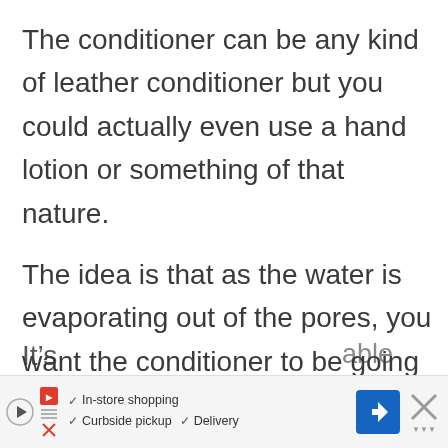The conditioner can be any kind of leather conditioner but you could actually even use a hand lotion or something of that nature.
The idea is that as the water is evaporating out of the pores, you want the conditioner to be going back into the pores and that’d be drying and solidifying the shape of that boot.
It’s
[Figure (other): Advertisement banner showing a streaming/navigation app ad with play button, logo, checkmarks for In-store shopping, Curbside pickup, Delivery, a blue navigation icon, and a close X button]